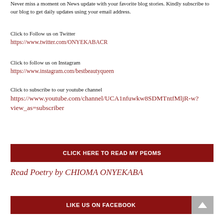Never miss a moment on News update with your favorite blog stories. Kindly subscribe to our blog to get daily updates using your email address.
Click to Follow us on Twitter
https://www.twitter.com/ONYEKABACR
Click to follow us on Instagram
https://www.instagram.com/bestbeautyqueen
Click to subscribe to our youtube channel
https://www.youtube.com/channel/UCA1nfuwkw8SDMTntfMljR-w?view_as=subscriber
CLICK HERE TO READ MY PEOMS
Read Poetry by CHIOMA ONYEKABA
LIKE US ON FACEBOOK